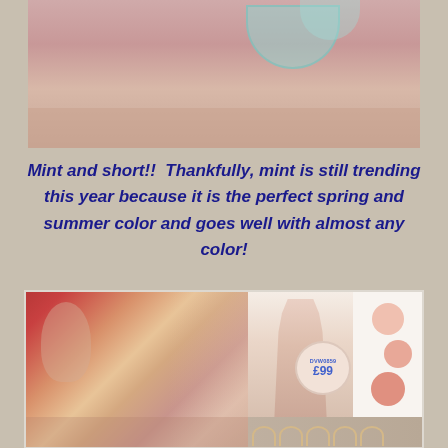[Figure (photo): Top partial photo showing blurred pink and mint/teal colors, appears to be a wedding or event scene cropped at top]
Mint and short!!  Thankfully, mint is still trending this year because it is the perfect spring and summer color and goes well with almost any color!
[Figure (photo): Bottom collage with two images side by side: left shows bridesmaids in peach/blush dresses gathered around a bride; right shows a blush full-length bridesmaid dress with price tag DVW0859 £99 and three pink/coral color swatches, plus a bottom strip showing wooden hangers]